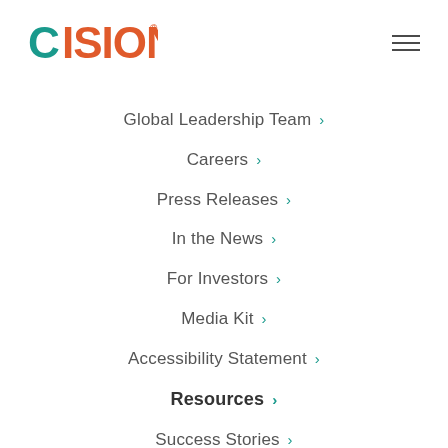[Figure (logo): Cision logo with teal 'C' and orange 'ISION' lettering]
Global Leadership Team >
Careers >
Press Releases >
In the News >
For Investors >
Media Kit >
Accessibility Statement >
Resources >
Success Stories >